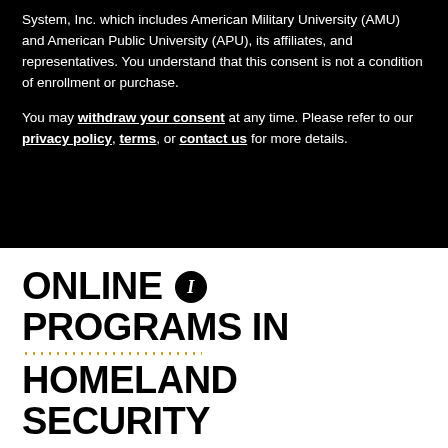System, Inc. which includes American Military University (AMU) and American Public University (APU), its affiliates, and representatives. You understand that this consent is not a condition of enrollment or purchase.
You may withdraw your consent at any time. Please refer to our privacy policy, terms, or contact us for more details.
ONLINE [i] PROGRAMS IN HOMELAND SECURITY
Our instructors are practitioners, many with unparalleled experience safeguarding the nation as military, intelligence, emergency management, public safety and homeland security leaders. American Military University